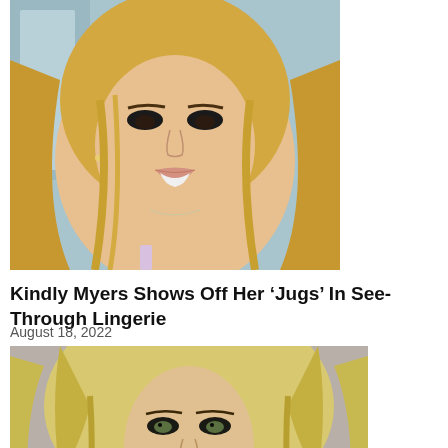[Figure (photo): Close-up photo of a blonde woman with heavy eye makeup, smiling, wearing a light purple strap top]
Kindly Myers Shows Off Her ‘Jugs’ In See-Through Lingerie
August 18, 2022
[Figure (photo): Photo of a blonde woman with voluminous hair, wearing red lipstick, against a gray background]